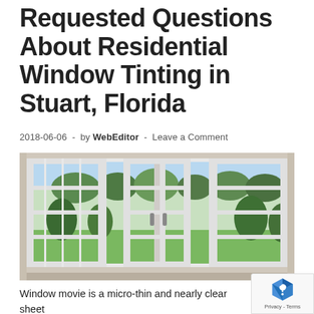Requested Questions About Residential Window Tinting in Stuart, Florida
2018-06-06 - by WebEditor - Leave a Comment
[Figure (photo): Photo of white-framed French doors/windows looking out onto a green yard with trees, viewed from inside a room with beige walls.]
Window movie is a micro-thin and nearly clear sheet blocks 99% of the solar's Extremely Violet (UV) rays